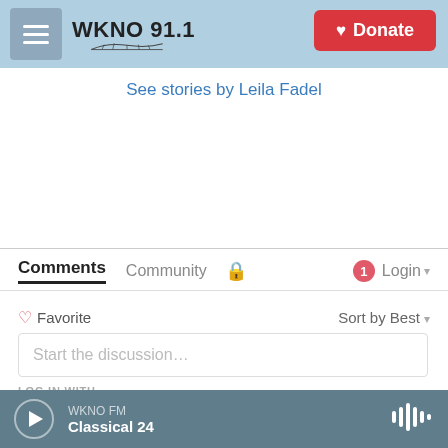WKNO 91.1 | Donate
See stories by Leila Fadel
Comments   Community   🔒   1  Login
♡ Favorite   Sort by Best
Start the discussion...
LOG IN WITH
[Figure (screenshot): Social login icons: Disqus (D blue), Facebook (f dark blue), Twitter (bird light blue), Google (G red)]
WKNO FM  Classical 24